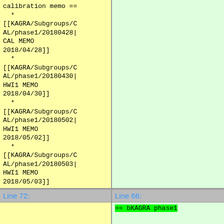calibration memo ==
  *
[[KAGRA/Subgroups/CAL/phase1/20180428|CAL MEMO 2018/04/28]]
  *
[[KAGRA/Subgroups/CAL/phase1/20180430|HWI1 MEMO 2018/04/30]]
  *
[[KAGRA/Subgroups/CAL/phase1/20180502|HWI1 MEMO 2018/05/02]]
  *
[[KAGRA/Subgroups/CAL/phase1/20180503|HWI1 MEMO 2018/05/03]]
Line 72:
Line 66:
== bKAGRA phase1